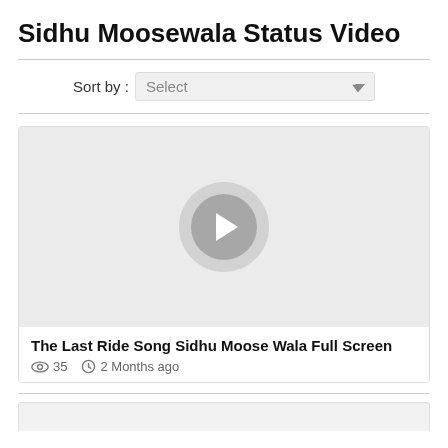Sidhu Moosewala Status Video
Sort by : Select
[Figure (screenshot): Video thumbnail placeholder with a play button icon (gray circle with white triangle) on a light gray background]
The Last Ride Song Sidhu Moose Wala Full Screen
35   2 Months ago